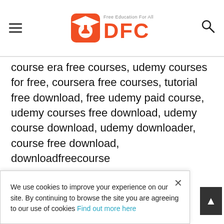[Figure (logo): DFC (Download Free Course) website logo with graduation cap icon and orange DFC text, tagline 'Free Education For All']
course era free courses, udemy courses for free, coursera free courses, tutorial free download, free udemy paid course, udemy courses free download, udemy course download, udemy downloader, course free download, downloadfreecourse
We use cookies to improve your experience on our site. By continuing to browse the site you are agreeing to our use of cookies Find out more here